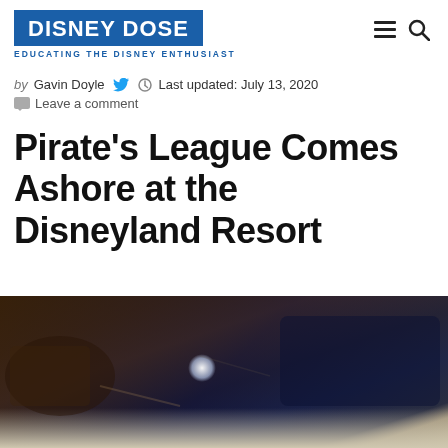DISNEY DOSE — EDUCATING THE DISNEY ENTHUSIAST
by Gavin Doyle  Last updated: July 13, 2020
Leave a comment
Pirate's League Comes Ashore at the Disneyland Resort
[Figure (photo): Dark overhead photo of what appears to be a Pirate's League experience with props and lighting effects visible, with a glowing light source in the center.]